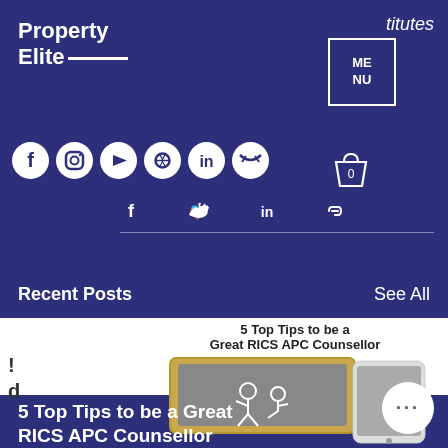titutes
Property Elite
[Figure (other): MENU box with border]
[Figure (other): Social media icons: Facebook, Instagram, YouTube, Spotify, LinkedIn, Twitter]
[Figure (other): Shopping bag icon with 0]
[Figure (other): Share icons: Facebook, Twitter, LinkedIn, Link]
Recent Posts
See All
5 Top Tips to be a Great RICS APC Counsellor
[Figure (illustration): Illustration of a laptop with a coaching scene and a phone showing two people]
5 Top Tips to be a Great RICS APC Counsellor